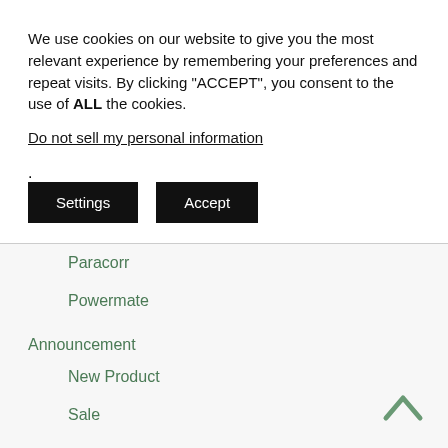We use cookies on our website to give you the most relevant experience by remembering your preferences and repeat visits. By clicking “ACCEPT”, you consent to the use of ALL the cookies.
Do not sell my personal information.
Settings
Accept
Paracorr
Powermate
Announcement
New Product
Sale
Events
Shows
Sky Events